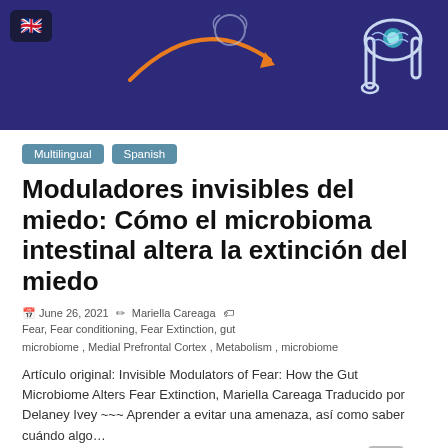[Figure (illustration): Header banner with dark purple/indigo background showing a UK flag button, an orange curved arrow, and a simplified colon/intestine illustration with a glowing teal dot. Decorative border around the image.]
Multilingual  Spanish
Moduladores invisibles del miedo: Cómo el microbioma intestinal altera la extinción del miedo
June 26, 2021  Mariella Careaga  Fear, Fear conditioning, Fear Extinction, gut microbiome , Medial Prefrontal Cortex , Metabolism , microbiome
Artículo original: Invisible Modulators of Fear: How the Gut Microbiome Alters Fear Extinction, Mariella Careaga Traducido por Delaney Ivey ~~~ Aprender a evitar una amenaza, así como saber cuándo algo…
Read more